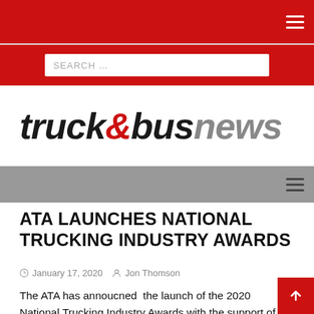truck&busnews
ATA LAUNCHES NATIONAL TRUCKING INDUSTRY AWARDS
January 17, 2020   Jon Thomson
The ATA has annoucned  the launch of the 2020 National Trucking Industry Awards with the support of Deputy PM Michael McCormack